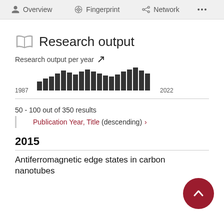Research activity per year
Overview | Fingerprint | Network | ...
Research output
Research output per year
[Figure (bar-chart): Research output per year]
50 - 100 out of 350 results
Publication Year, Title (descending) ›
2015
Antiferromagnetic edge states in carbon nanotubes